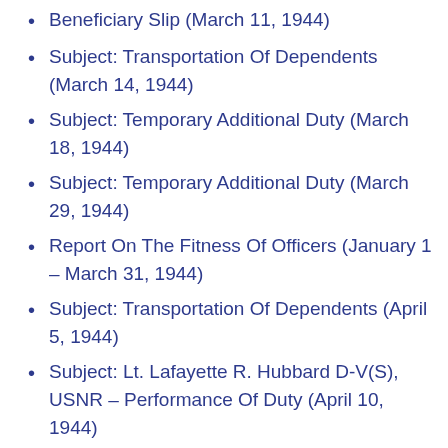Beneficiary Slip (March 11, 1944)
Subject: Transportation Of Dependents (March 14, 1944)
Subject: Temporary Additional Duty (March 18, 1944)
Subject: Temporary Additional Duty (March 29, 1944)
Report On The Fitness Of Officers (January 1 – March 31, 1944)
Subject: Transportation Of Dependents (April 5, 1944)
Subject: Lt. Lafayette R. Hubbard D-V(S), USNR – Performance Of Duty (April 10, 1944)
Subject: Lieutenant Lafayette R. Hubbard D-V(S) USNR ... Performance Of Duty (April 14, 1944)
Subject: Temporary Additional Duty (April …)